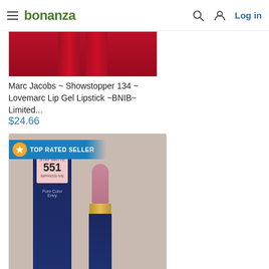bonanza — Log in
[Figure (photo): Partial top of a product card showing two red lipstick tubes (Marc Jacobs lip gel)]
Marc Jacobs ~ Showstopper 134 ~ Lovemarc Lip Gel Lipstick ~BNIB~ Limited...
$24.66
[Figure (photo): Estee Lauder Pure Color Envy Matte Sculpting Lipstick, Shade 551, navy blue tube with gold cap, pink lipstick bullet, with product box. Badge: TOP RATED SELLER]
Estee Lauder Pure Color Envy Matte Sculpting Lipstick, Shade 551 Impress...